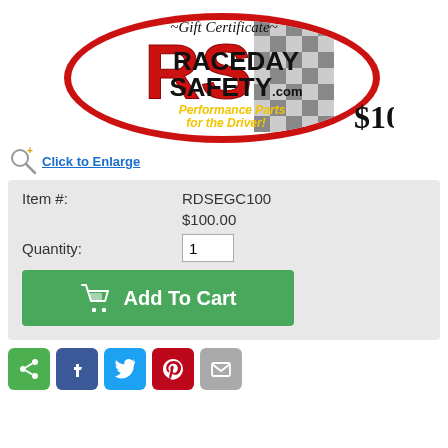[Figure (logo): Raceday Safety .com logo with Gift Certificate $100 text, red RS letters, checkered flag oval, yellow Performance Parts for the Driver tagline]
Click to Enlarge
| Item #: | RDSEGC100 |
|  | $100.00 |
| Quantity: | 1 |
Add To Cart
[Figure (infographic): Social share buttons: share (green), Facebook (blue), Twitter (light blue), Pinterest (red), email (gray)]